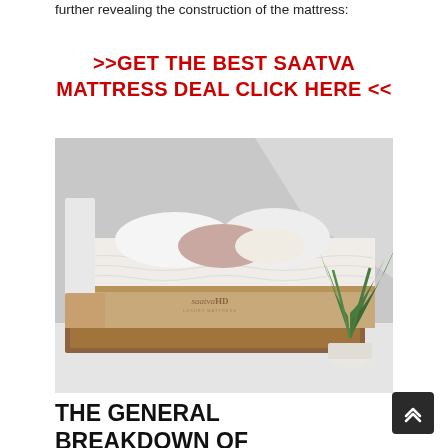further revealing the construction of the mattress:
>>GET THE BEST SAATVA MATTRESS DEAL CLICK HERE <<
[Figure (photo): A Saatva HD luxury mattress on a wooden bed frame with white and pink pillows, next to a white nightstand and a potted palm plant, in a bright minimalist room.]
THE GENERAL BREAKDOWN OF THE SAATVA MATTRESS